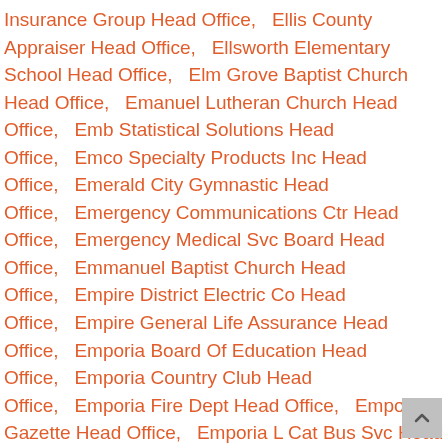Insurance Group Head Office,   Ellis County Appraiser Head Office,   Ellsworth Elementary School Head Office,   Elm Grove Baptist Church Head Office,   Emanuel Lutheran Church Head Office,   Emb Statistical Solutions Head Office,   Emco Specialty Products Inc Head Office,   Emerald City Gymnastic Head Office,   Emergency Communications Ctr Head Office,   Emergency Medical Svc Board Head Office,   Emmanuel Baptist Church Head Office,   Empire District Electric Co Head Office,   Empire General Life Assurance Head Office,   Emporia Board Of Education Head Office,   Emporia Country Club Head Office,   Emporia Fire Dept Head Office,   Emporia Gazette Head Office,   Emporia L Cat Bus Svc Head Office,   Emporia Park Zoo Admin Dept Head Office,   Emporia Public Library Head Office,   Emporium